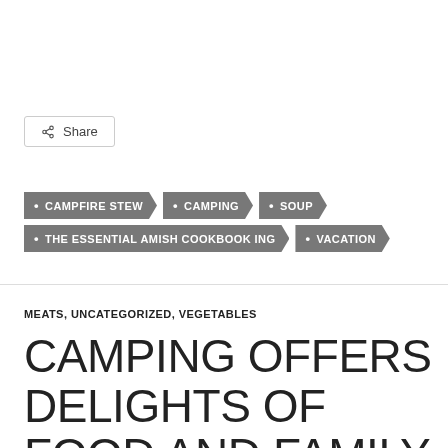Share
• CAMPFIRE STEW • CAMPING • SOUP • THE ESSENTIAL AMISH COOKBOOK ING • VACATION
MEATS, UNCATEGORIZED, VEGETABLES
CAMPING OFFERS DELIGHTS OF FOOD AND FAMILY